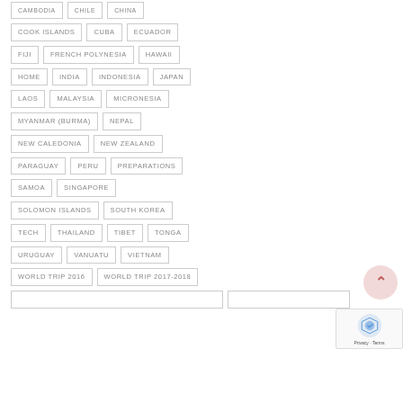CAMBODIA
CHILE
CHINA
COOK ISLANDS
CUBA
ECUADOR
FIJI
FRENCH POLYNESIA
HAWAII
HOME
INDIA
INDONESIA
JAPAN
LAOS
MALAYSIA
MICRONESIA
MYANMAR (BURMA)
NEPAL
NEW CALEDONIA
NEW ZEALAND
PARAGUAY
PERU
PREPARATIONS
SAMOA
SINGAPORE
SOLOMON ISLANDS
SOUTH KOREA
TECH
THAILAND
TIBET
TONGA
URUGUAY
VANUATU
VIETNAM
WORLD TRIP 2016
WORLD TRIP 2017-2018